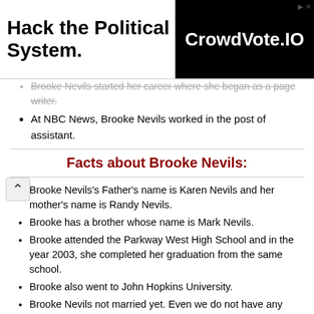[Figure (other): Advertisement banner: 'Hack the Political System.' on left, 'CrowdVote.IO' on black background on right]
Brooke Nevils started her career where she began as a page writer.
At NBC News, Brooke Nevils worked in the post of assistant.
Facts about Brooke Nevils:
Brooke Nevils's Father's name is Karen Nevils and her mother's name is Randy Nevils.
Brooke has a brother whose name is Mark Nevils.
Brooke attended the Parkway West High School and in the year 2003, she completed her graduation from the same school.
Brooke also went to John Hopkins University.
Brooke Nevils not married yet. Even we do not have any information about her love life.
Net Worth: $2 Million (Brooke Nevils does not disclose her salary.)